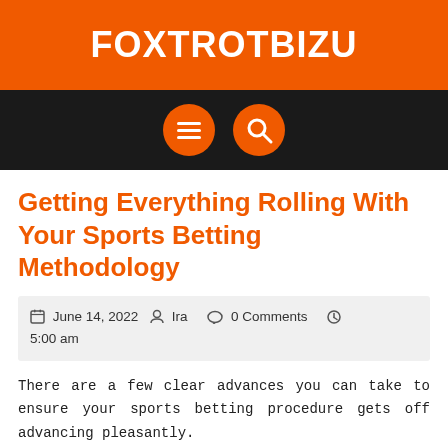FOXTROTBIZU
[Figure (screenshot): Dark navigation bar with two orange circular icon buttons: a hamburger menu icon and a search/magnifying glass icon]
Getting Everything Rolling With Your Sports Betting Methodology
June 14, 2022   Ira   0 Comments   5:00 am
There are a few clear advances you can take to ensure your sports betting procedure gets off advancing pleasantly.